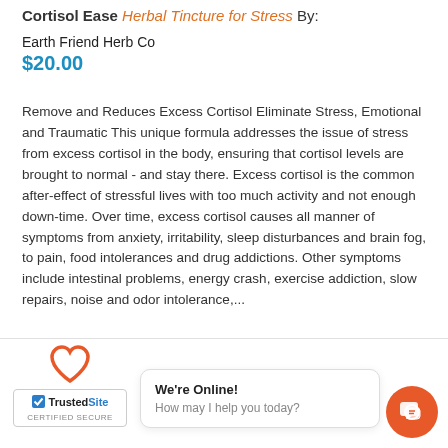Cortisol Ease - Herbal Tincture for Stress - By:
Earth Friend Herb Co
$20.00
Remove and Reduces Excess Cortisol Eliminate Stress, Emotional and Traumatic This unique formula addresses the issue of stress from excess cortisol in the body, ensuring that cortisol levels are brought to normal - and stay there. Excess cortisol is the common after-effect of stressful lives with too much activity and not enough down-time. Over time, excess cortisol causes all manner of symptoms from anxiety, irritability, sleep disturbances and brain fog, to pain, food intolerances and drug addictions. Other symptoms include intestinal problems, energy crash, exercise addiction, slow repairs, noise and odor intolerance,...
[Figure (logo): TrustedSite Certified Secure badge with heart icon above]
We're Online! How may I help you today?
[Figure (illustration): Orange circular chat button with speech bubble icon]